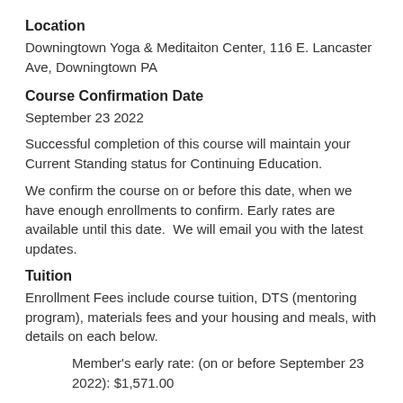Location
Downingtown Yoga & Meditaiton Center, 116 E. Lancaster Ave, Downingtown PA
Course Confirmation Date
September 23 2022
Successful completion of this course will maintain your Current Standing status for Continuing Education.
We confirm the course on or before this date, when we have enough enrollments to confirm. Early rates are available until this date.  We will email you with the latest updates.
Tuition
Enrollment Fees include course tuition, DTS (mentoring program), materials fees and your housing and meals, with details on each below.
Member's early rate: (on or before September 23 2022): $1,571.00